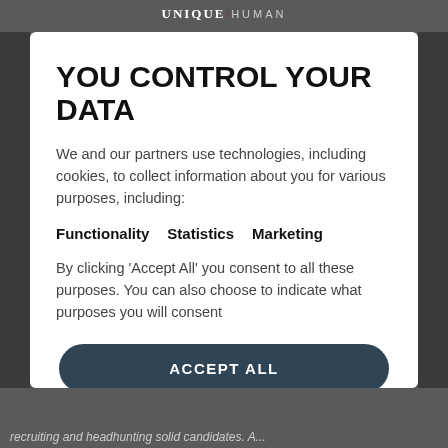UNIQUE / HUMAN
YOU CONTROL YOUR DATA
We and our partners use technologies, including cookies, to collect information about you for various purposes, including:
Functionality   Statistics   Marketing
By clicking 'Accept All' you consent to all these purposes. You can also choose to indicate what purposes you will consent
ACCEPT ALL
REJECT ALL
SHOW DETAILS
recruiting and headhunting solid candidates. A...